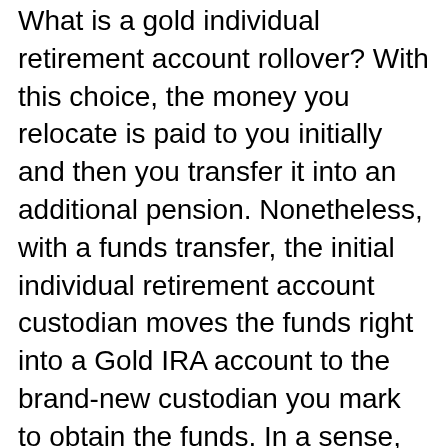What is a gold individual retirement account rollover? With this choice, the money you relocate is paid to you initially and then you transfer it into an additional pension. Nonetheless, with a funds transfer, the initial individual retirement account custodian moves the funds right into a Gold IRA account to the brand-new custodian you mark to obtain the funds. In a sense, you never see your money.
Commonly, rare-earth elements are underused for an individual's retirement financial savings, but with this new individual retirement account choice, you can have silver and gold, and it can be incredibly useful for many factors. We speak about this later, so you can understand why you could